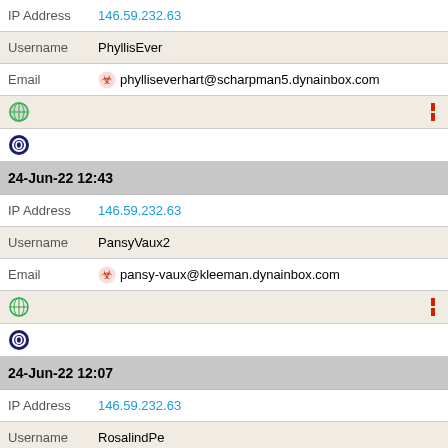IP Address 146.59.232.63
Username PhyllisEver
Email phylliseverhart@scharpman5.dynainbox.com
[Figure (other): Globe icon and red bar icon row]
[Figure (other): Opera browser icon row]
24-Jun-22 12:43
IP Address 146.59.232.63
Username PansyVaux2
Email pansy-vaux@kleeman.dynainbox.com
[Figure (other): Globe icon and red bar icon row]
[Figure (other): Opera browser icon row]
24-Jun-22 12:07
IP Address 146.59.232.63
Username RosalindPe
Email floreneodette@kogobee.com
[Figure (other): Globe icon and red bar icon row]